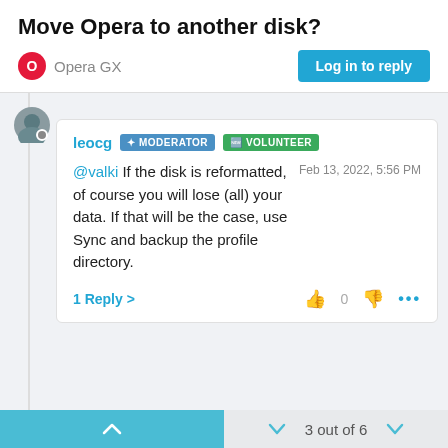Move Opera to another disk?
Opera GX
Log in to reply
leocg MODERATOR VOLUNTEER
@valki If the disk is reformatted, of course you will lose (all) your data. If that will be the case, use Sync and backup the profile directory.
Feb 13, 2022, 5:56 PM
1 Reply >
3 out of 6